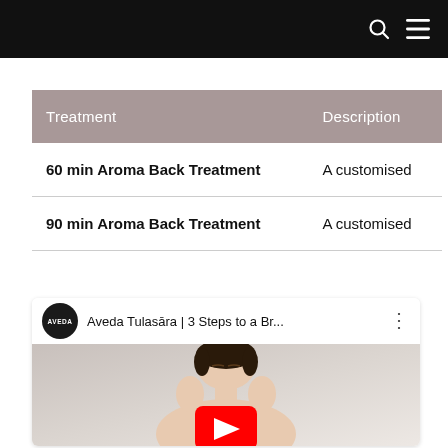Navigation bar with search and menu icons
| Treatment | Description |
| --- | --- |
| 60 min Aroma Back Treatment | A customised |
| 90 min Aroma Back Treatment | A customised |
[Figure (screenshot): YouTube video thumbnail showing Aveda Tulasāra | 3 Steps to a Br... with a woman touching her face and a YouTube play button overlay]